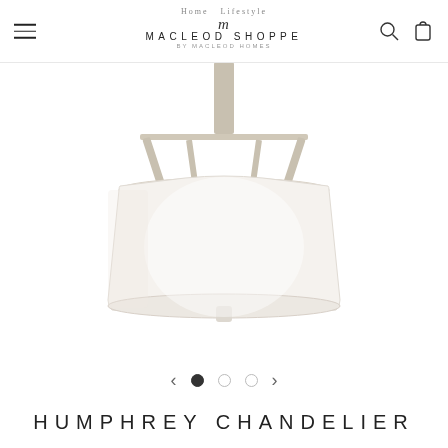MACLEOD SHOPPE by Macleod Homes
[Figure (photo): Humphrey Chandelier product photo showing a pendant chandelier with a brushed nickel frame and trapezoid white fabric shade, viewed from slightly below, on a white background.]
HUMPHREY CHANDELIER